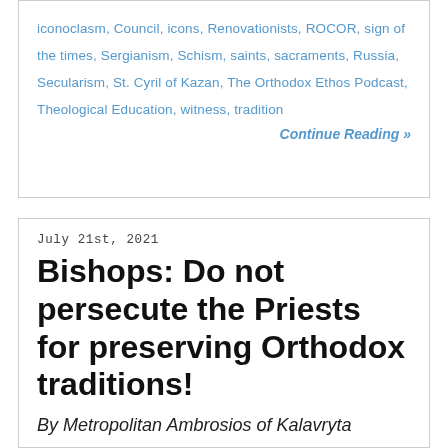iconoclasm, Council, icons, Renovationists, ROCOR, sign of the times, Sergianism, Schism, saints, sacraments, Russia, Secularism, St. Cyril of Kazan, The Orthodox Ethos Podcast, Theological Education, witness, tradition
Continue Reading »
July 21st, 2021
Bishops: Do not persecute the Priests for preserving Orthodox traditions!
By Metropolitan Ambrosios of Kalavryta